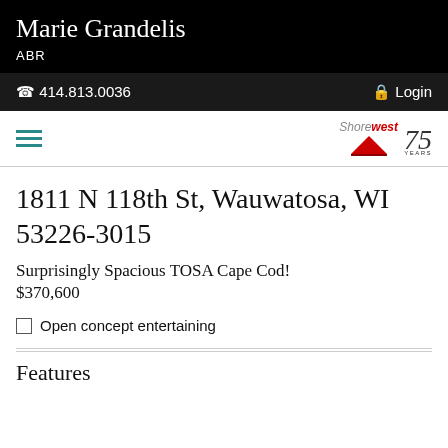Marie Grandelis
ABR
☎ 414.813.0036   🔒 Login
[Figure (logo): Shorewest Realtors logo with red triangle and '75 Years' text]
1811 N 118th St, Wauwatosa, WI 53226-3015
Surprisingly Spacious TOSA Cape Cod!
$370,600
Open concept entertaining
Features